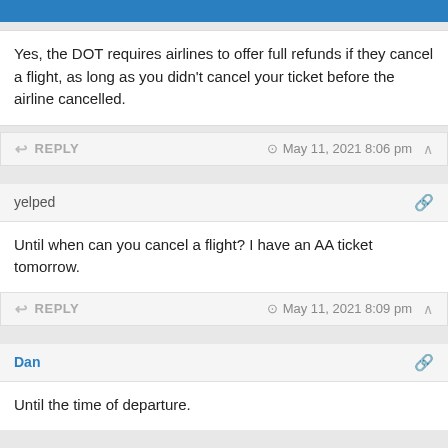BanksDeals
Yes, the DOT requires airlines to offer full refunds if they cancel a flight, as long as you didn't cancel your ticket before the airline cancelled.
REPLY   May 11, 2021 8:06 pm
yelped
Until when can you cancel a flight? I have an AA ticket tomorrow.
REPLY   May 11, 2021 8:09 pm
Dan
Until the time of departure.